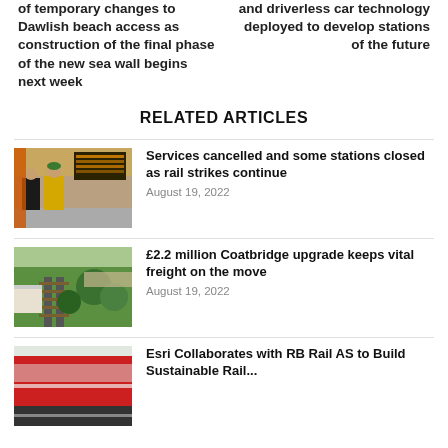of temporary changes to Dawlish beach access as construction of the final phase of the new sea wall begins next week
and driverless car technology deployed to develop stations of the future
RELATED ARTICLES
[Figure (photo): People at a train station looking at departure boards]
Services cancelled and some stations closed as rail strikes continue
August 19, 2022
[Figure (photo): Aerial view of a rail freight yard with green surroundings]
£2.2 million Coatbridge upgrade keeps vital freight on the move
August 19, 2022
[Figure (photo): Train on tracks, partial view]
Esri Collaborates with RB Rail AS to Build Sustainable Rail...